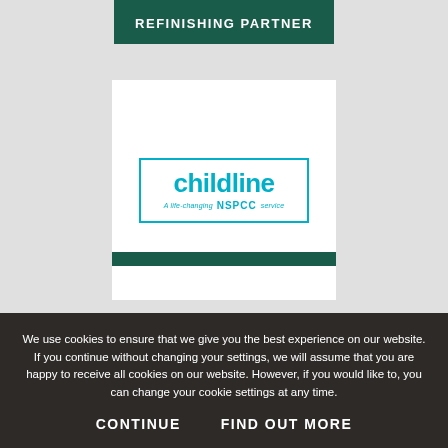REFINISHING PARTNER
[Figure (logo): Childline NSPCC logo — 'childline' in large teal text above 'A life-changing NSPCC service' in smaller teal text, enclosed in a teal rectangular border]
We use cookies to ensure that we give you the best experience on our website. If you continue without changing your settings, we will assume that you are happy to receive all cookies on our website. However, if you would like to change your cookie settings at any time.
CONTINUE
FIND OUT MORE